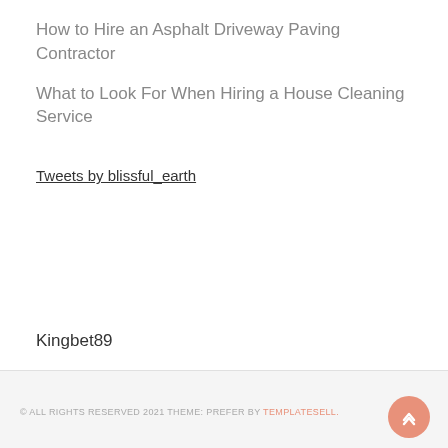How to Hire an Asphalt Driveway Paving Contractor
What to Look For When Hiring a House Cleaning Service
Tweets by blissful_earth
Kingbet89
© ALL RIGHTS RESERVED 2021 THEME: PREFER BY TEMPLATESELL.